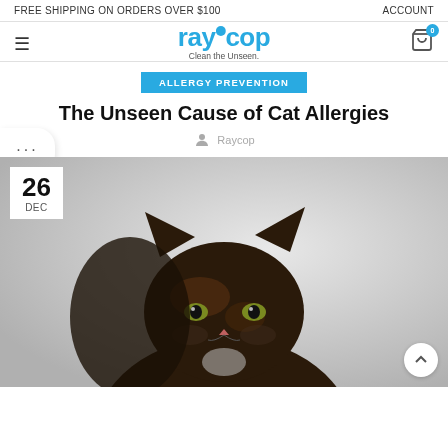FREE SHIPPING ON ORDERS OVER $100    ACCOUNT
[Figure (logo): Raycop logo with tagline 'Clean the Unseen.' in blue text]
ALLERGY PREVENTION
The Unseen Cause of Cat Allergies
Raycop
[Figure (photo): A black and brown cat facing forward on a light background, with a date badge showing '26 DEC' in the top-left corner]